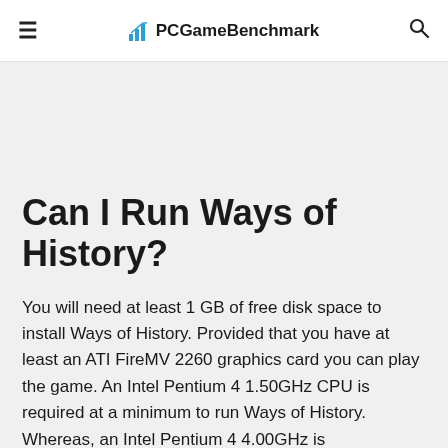PCGameBenchmark
Can I Run Ways of History?
You will need at least 1 GB of free disk space to install Ways of History. Provided that you have at least an ATI FireMV 2260 graphics card you can play the game. An Intel Pentium 4 1.50GHz CPU is required at a minimum to run Ways of History. Whereas, an Intel Pentium 4 4.00GHz is recommended in order to run it. The minimum memory requirement for Ways of History is 300 MB of RAM installed in your computer.